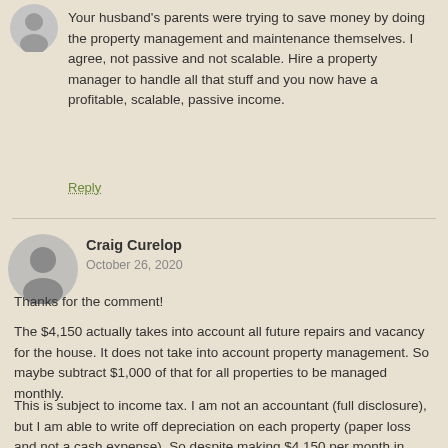[Figure (illustration): Anonymous user avatar (small grey circle with silhouette)]
Your husband's parents were trying to save money by doing the property management and maintenance themselves. I agree, not passive and not scalable. Hire a property manager to handle all that stuff and you now have a profitable, scalable, passive income.
Reply
[Figure (illustration): Anonymous user avatar (large grey circle with silhouette) for Craig Curelop]
Craig Curelop
October 26, 2020
Thanks for the comment!
The $4,150 actually takes into account all future repairs and vacancy for the house. It does not take into account property management. So maybe subtract $1,000 of that for all properties to be managed monthly.
This is subject to income tax. I am not an accountant (full disclosure), but I am able to write off depreciation on each property (paper loss and not a cash expense). So despite making $4,150 per month in rental income, after expense write offs and depreciation, my adjusted net is $7.3 - ill see